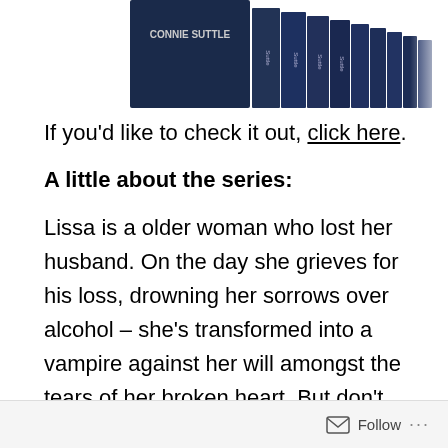[Figure (photo): Partial image of a series of dark blue book spines by Connie Suttle, showing the author name and multiple volumes arranged in a row.]
If you'd like to check it out, click here.
A little about the series:
Lissa is a older woman who lost her husband. On the day she grieves for his loss, drowning her sorrows over alcohol – she's transformed into a vampire against her will amongst the tears of her broken heart. But don't worry, this isn't a dark series by any means. It's tastefully written.
Follow ...